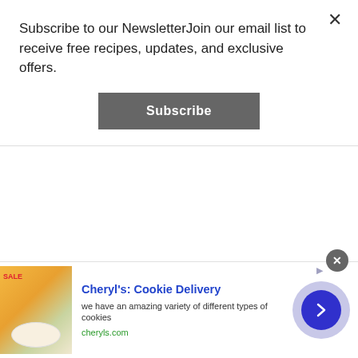Subscribe to our NewsletterJoin our email list to receive free recipes, updates, and exclusive offers.
Subscribe
[Figure (screenshot): Advertisement bar for Cheryl's Cookie Delivery with product image, title, description, URL, and arrow button]
Cheryl's: Cookie Delivery
we have an amazing variety of different types of cookies
cheryls.com